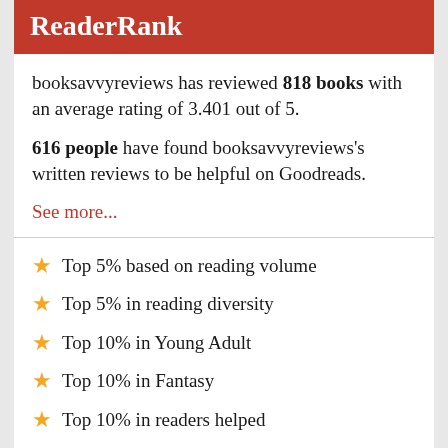ReaderRank
booksavvyreviews has reviewed 818 books with an average rating of 3.401 out of 5.
616 people have found booksavvyreviews's written reviews to be helpful on Goodreads.
See more...
Top 5% based on reading volume
Top 5% in reading diversity
Top 10% in Young Adult
Top 10% in Fantasy
Top 10% in readers helped